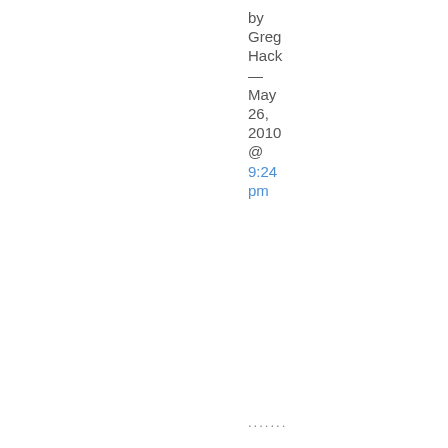by Greg Hack — May 26, 2010 @ 9:24 pm
.......
13. Proactive is no more an adjective than reference is a verb (Ted Robinson, stop using